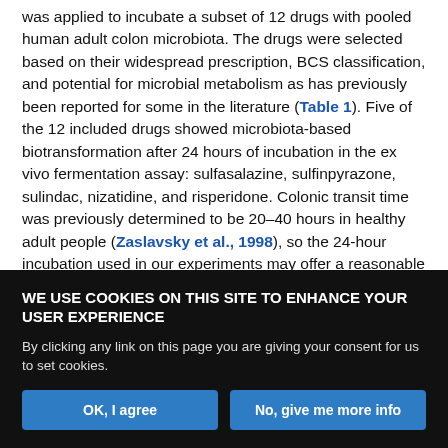was applied to incubate a subset of 12 drugs with pooled human adult colon microbiota. The drugs were selected based on their widespread prescription, BCS classification, and potential for microbial metabolism as has previously been reported for some in the literature (Table 1). Five of the 12 included drugs showed microbiota-based biotransformation after 24 hours of incubation in the ex vivo fermentation assay: sulfasalazine, sulfinpyrazone, sulindac, nizatidine, and risperidone. Colonic transit time was previously determined to be 20–40 hours in healthy adult people (Zaslavsky et al., 1998), so the 24-hour incubation used in our experiments may offer a reasonable reflection of residence time of
WE USE COOKIES ON THIS SITE TO ENHANCE YOUR USER EXPERIENCE

By clicking any link on this page you are giving your consent for us to set cookies.